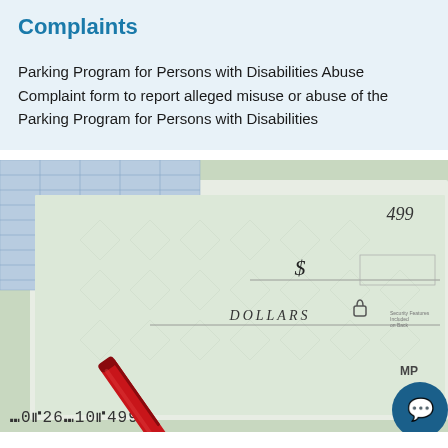Complaints
Parking Program for Persons with Disabilities Abuse Complaint form to report alleged misuse or abuse of the Parking Program for Persons with Disabilities
[Figure (photo): Close-up photo of a red pen resting on a bank check. The check shows the number 499, a dollar sign ($), the word DOLLARS with a lock icon, and the MICR number 2026104 99 along the bottom. A checkbook register with blue lines is visible in the upper left.]